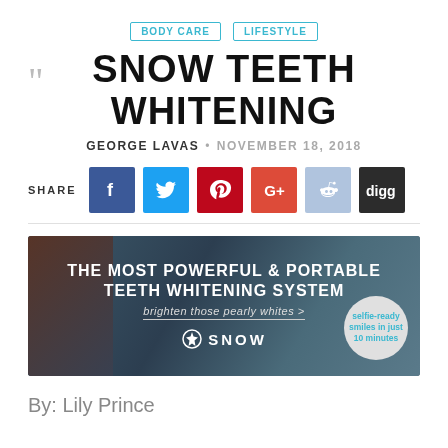BODY CARE  LIFESTYLE
SNOW TEETH WHITENING
GEORGE LAVAS • NOVEMBER 18, 2018
[Figure (infographic): Social share buttons row: SHARE label followed by Facebook (blue), Twitter (light blue), Pinterest (red), Google+ (red-orange), Reddit (light blue-grey), Digg (dark grey) icon buttons]
[Figure (photo): Snow Teeth Whitening advertisement banner with dark mountain/outdoor background. Text reads: THE MOST POWERFUL & PORTABLE TEETH WHITENING SYSTEM / brighten those pearly whites > / SNOW logo. Badge reads: selfie-ready smiles in just 10 minutes]
By: Lily Prince